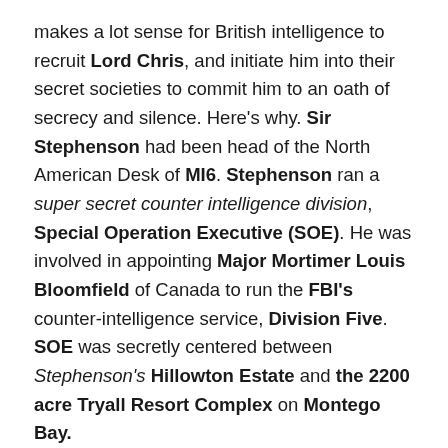makes a lot sense for British intelligence to recruit Lord Chris, and initiate him into their secret societies to commit him to an oath of secrecy and silence. Here's why. Sir Stephenson had been head of the North American Desk of MI6. Stephenson ran a super secret counter intelligence division, Special Operation Executive (SOE). He was involved in appointing Major Mortimer Louis Bloomfield of Canada to run the FBI's counter-intelligence service, Division Five. SOE was secretly centered between Stephenson's Hillowton Estate and the 2200 acre Tryall Resort Complex on Montego Bay.
In March 1963, Stephenson and Bloomfield began to work for what is believed to have been a review of the strategy for JFK Assassination. The Tryall Resort became a nerve center for the assassination. A number of